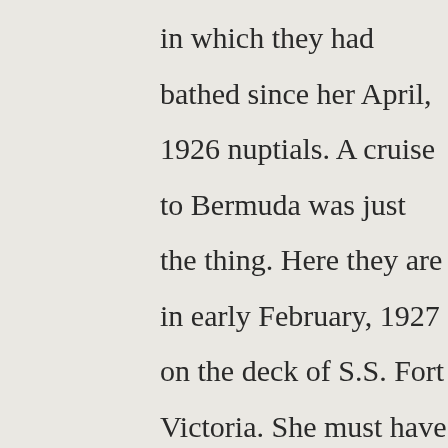in which they had bathed since her April, 1926 nuptials. A cruise to Bermuda was just the thing. Here they are in early February, 1927 on the deck of S.S. Fort Victoria. She must have gotten something from the old geezer even though her divorce claim was foundering: perhaps the sale of some of the